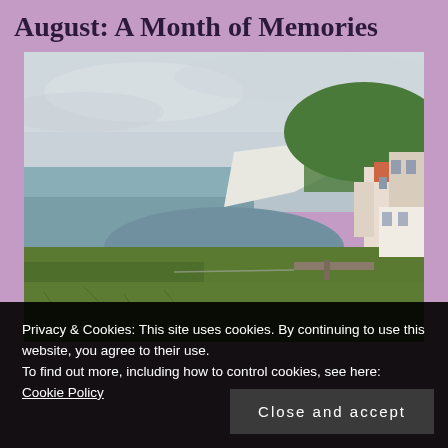August: A Month of Memories
[Figure (photo): Coastal landscape photograph showing a bay with calm grey-green water, white chalk cliffs, green grassy foreground, buildings on the right side, and an overcast sky.]
Privacy & Cookies: This site uses cookies. By continuing to use this website, you agree to their use.
To find out more, including how to control cookies, see here: Cookie Policy
Close and accept